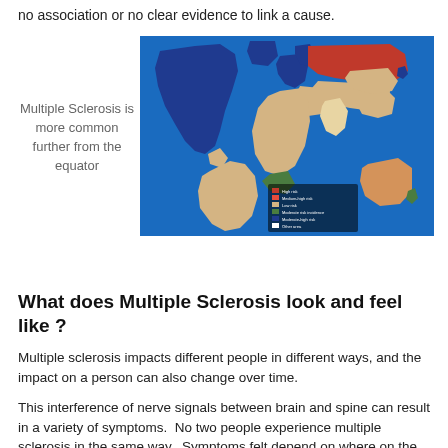no association or no clear evidence to link a cause.
[Figure (map): World map showing prevalence of Multiple Sclerosis by region, colored by frequency: dark blue (high), red (high), tan/light yellow (medium), green (low), white (very low). Legend shown in lower left of map.]
Multiple Sclerosis is more common further from the equator
What does Multiple Sclerosis look and feel like ?
Multiple sclerosis impacts different people in different ways, and the impact on a person can also change over time.
This interference of nerve signals between brain and spine can result in a variety of symptoms.  No two people experience multiple sclerosis in the same way.  Symptoms felt depend on where on the brain and spinal cord the